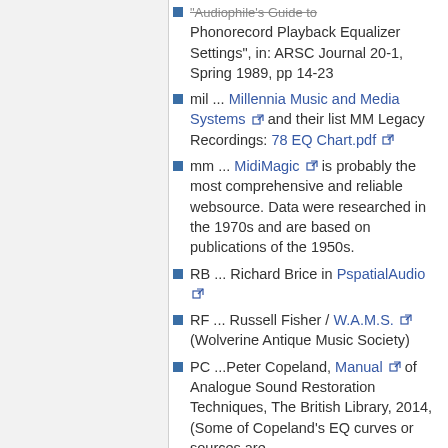... "Audiophile's Guide to Phonorecord Playback Equalizer Settings", in: ARSC Journal 20-1, Spring 1989, pp 14-23
mil ... Millennia Music and Media Systems [ext] and their list MM Legacy Recordings: 78 EQ Chart.pdf [ext]
mm ... MidiMagic [ext] is probably the most comprehensive and reliable websource. Data were researched in the 1970s and are based on publications of the 1950s.
RB ... Richard Brice in PspatialAudio [ext]
RF ... Russell Fisher / W.A.M.S. [ext] (Wolverine Antique Music Society)
PC ...Peter Copeland, Manual [ext] of Analogue Sound Restoration Techniques, The British Library, 2014, (Some of Copeland's EQ curves or sources are